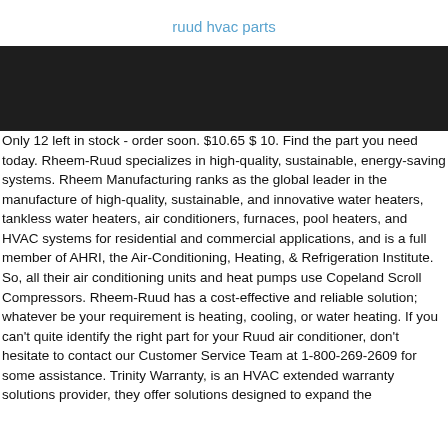ruud hvac parts
[Figure (photo): Dark banner image, likely a product or promotional image with very dark/black background]
Only 12 left in stock - order soon. $10.65 $ 10. Find the part you need today. Rheem-Ruud specializes in high-quality, sustainable, energy-saving systems. Rheem Manufacturing ranks as the global leader in the manufacture of high-quality, sustainable, and innovative water heaters, tankless water heaters, air conditioners, furnaces, pool heaters, and HVAC systems for residential and commercial applications, and is a full member of AHRI, the Air-Conditioning, Heating, & Refrigeration Institute. So, all their air conditioning units and heat pumps use Copeland Scroll Compressors. Rheem-Ruud has a cost-effective and reliable solution; whatever be your requirement is heating, cooling, or water heating. If you can't quite identify the right part for your Ruud air conditioner, don't hesitate to contact our Customer Service Team at 1-800-269-2609 for some assistance. Trinity Warranty, is an HVAC extended warranty solutions provider, they offer solutions designed to expand the